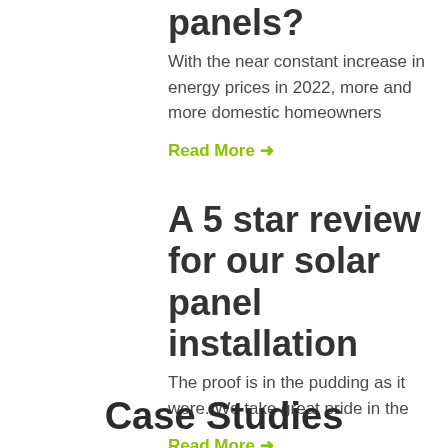panels?
With the near constant increase in energy prices in 2022, more and more domestic homeowners
Read More →
A 5 star review for our solar panel installation
The proof is in the pudding as it were. We take great pride in the
Read More →
Case Studies